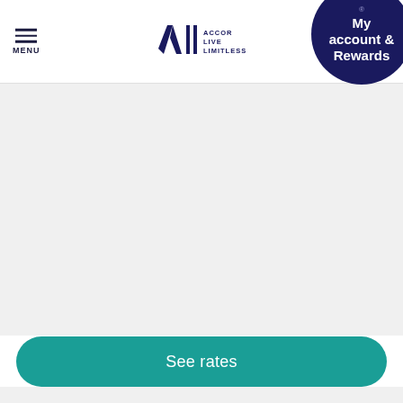MENU | ALL ACCOR LIVE LIMITLESS | My account & Rewards
[Figure (screenshot): Large light gray content area placeholder below the navigation header]
See rates